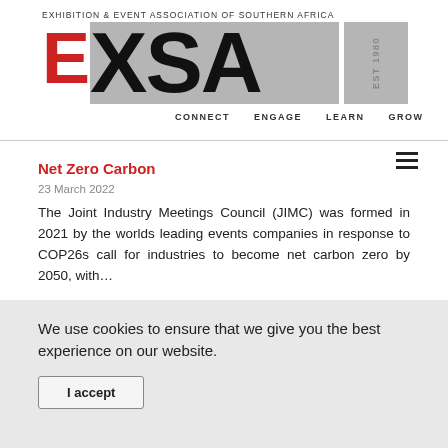[Figure (logo): EXSA logo — Exhibition & Event Association of Southern Africa, with tagline words CONNECT ENGAGE LEARN GROW]
Net Zero Carbon
23 March 2022
The Joint Industry Meetings Council (JIMC) was formed in 2021 by the worlds leading events companies in response to COP26s call for industries to become net carbon zero by 2050, with…
We use cookies to ensure that we give you the best experience on our website.